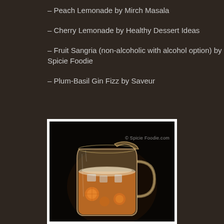– Peach Lemonade by Mirch Masala
– Cherry Lemonade by Healthy Dessert Ideas
– Fruit Sangria (non-alcoholic with alcohol option) by Spicie Foodie
– Plum-Basil Gin Fizz by Saveur
[Figure (photo): A glass pitcher filled with fruit sangria (orange/peach colored drink with fruit slices and ice), photographed against a dark background. Watermark reads © Spicie Foodie.com]